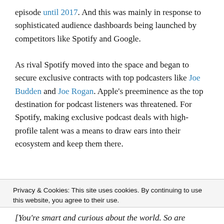episode until 2017. And this was mainly in response to sophisticated audience dashboards being launched by competitors like Spotify and Google.
As rival Spotify moved into the space and began to secure exclusive contracts with top podcasters like Joe Budden and Joe Rogan. Apple's preeminence as the top destination for podcast listeners was threatened. For Spotify, making exclusive podcast deals with high-profile talent was a means to draw ears into their ecosystem and keep them there.
Privacy & Cookies: This site uses cookies. By continuing to use this website, you agree to their use. To find out more, including how to control cookies, see here: Cookie Policy
[You're smart and curious about the world. So are